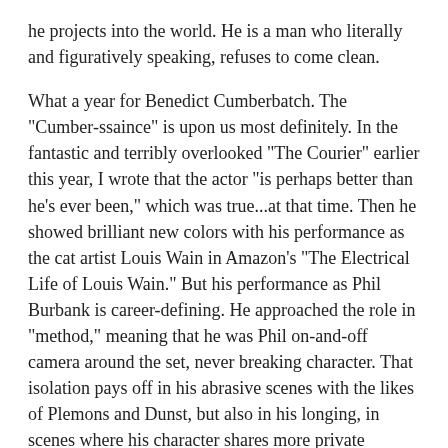he projects into the world. He is a man who literally and figuratively speaking, refuses to come clean.
What a year for Benedict Cumberbatch. The "Cumber-ssaince" is upon us most definitely. In the fantastic and terribly overlooked "The Courier" earlier this year, I wrote that the actor "is perhaps better than he's ever been," which was true...at that time. Then he showed brilliant new colors with his performance as the cat artist Louis Wain in Amazon's "The Electrical Life of Louis Wain." But his performance as Phil Burbank is career-defining. He approached the role in "method," meaning that he was Phil on-and-off camera around the set, never breaking character. That isolation pays off in his abrasive scenes with the likes of Plemons and Dunst, but also in his longing, in scenes where his character shares more private moments. Let's not forget that Cumberbatch's year isn't yet over...he reprises his role as Dr. Strange in the upcoming "Spider-Man: No Way Home" Marvel/Sony film.
What Campion does is nothing short of astounding.